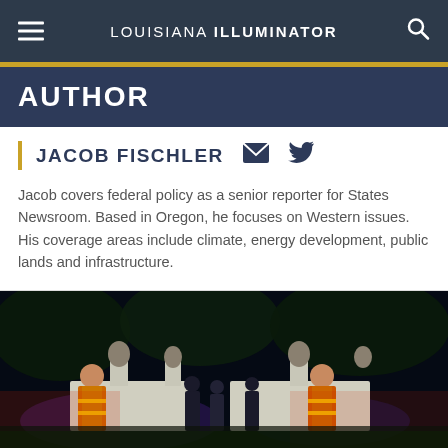LOUISIANA ILLUMINATOR
AUTHOR
JACOB FISCHLER
Jacob covers federal policy as a senior reporter for States Newsroom. Based in Oregon, he focuses on Western issues. His coverage areas include climate, energy development, public lands and infrastructure.
[Figure (photo): Night photo of workers in high-visibility orange vests standing near white structures with decorative busts, with dark trees in background and colorful lighting]